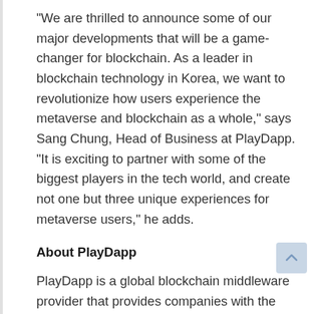“We are thrilled to announce some of our major developments that will be a game-changer for blockchain. As a leader in blockchain technology in Korea, we want to revolutionize how users experience the metaverse and blockchain as a whole,” says Sang Chung, Head of Business at PlayDapp. “It is exciting to partner with some of the biggest players in the tech world, and create not one but three unique experiences for metaverse users,” he adds.
About PlayDapp
PlayDapp is a global blockchain middleware provider that provides companies with the opportunity across many different industries to